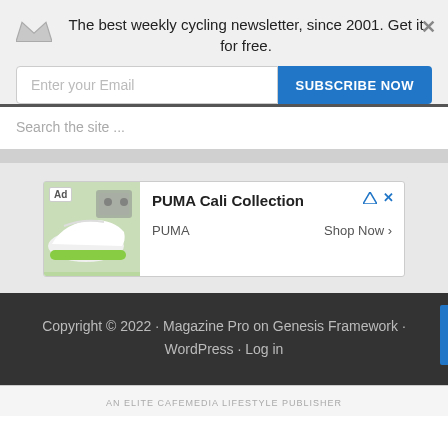The best weekly cycling newsletter, since 2001. Get it for free.
Enter your Email
SUBSCRIBE NOW
Search the site ...
[Figure (screenshot): Advertisement banner for PUMA Cali Collection showing a white sneaker with green sole, with 'Ad' tag, 'PUMA' brand name, and 'Shop Now >' link]
Copyright © 2022 · Magazine Pro on Genesis Framework · WordPress · Log in
AN ELITE CAFEMEDIA LIFESTYLE PUBLISHER